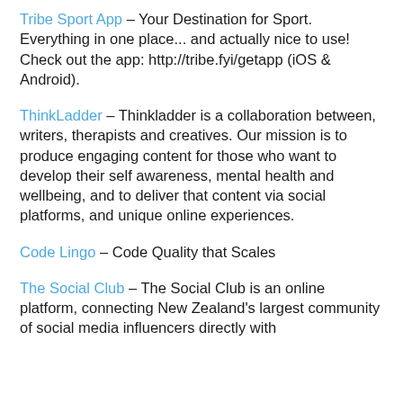Tribe Sport App – Your Destination for Sport. Everything in one place... and actually nice to use! Check out the app: http://tribe.fyi/getapp (iOS & Android).
ThinkLadder – Thinkladder is a collaboration between, writers, therapists and creatives. Our mission is to produce engaging content for those who want to develop their self awareness, mental health and wellbeing, and to deliver that content via social platforms, and unique online experiences.
Code Lingo – Code Quality that Scales
The Social Club – The Social Club is an online platform, connecting New Zealand's largest community of social media influencers directly with